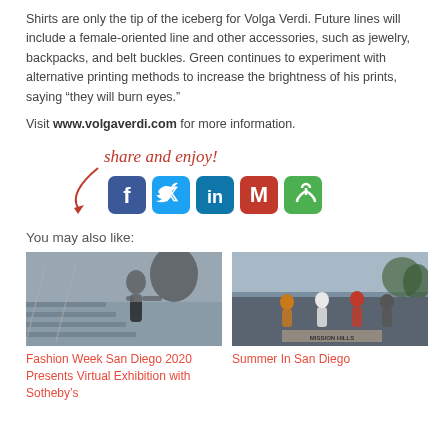Shirts are only the tip of the iceberg for Volga Verdi. Future lines will include a female-oriented line and other accessories, such as jewelry, backpacks, and belt buckles. Green continues to experiment with alternative printing methods to increase the brightness of his prints, saying “they will burn eyes.”
Visit www.volgaverdi.com for more information.
[Figure (infographic): Share and enjoy! text with arrow pointing to social media icons: Facebook, Twitter, LinkedIn, Gmail, and a green share/rotation icon]
You may also like:
[Figure (photo): Person photographing a model on stairs, outdoor urban setting]
Fashion Week San Diego 2020 Presents Virtual Exhibition with Sotheby’s
[Figure (photo): Outdoor band performance with Mission Hills sign visible]
Summer In San Diego